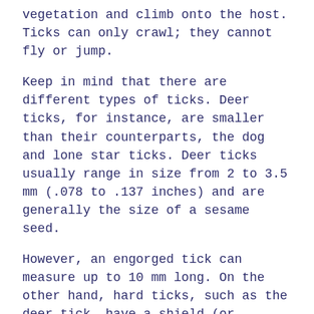vegetation and climb onto the host. Ticks can only crawl; they cannot fly or jump.
Keep in mind that there are different types of ticks. Deer ticks, for instance, are smaller than their counterparts, the dog and lone star ticks. Deer ticks usually range in size from 2 to 3.5 mm (.078 to .137 inches) and are generally the size of a sesame seed.
However, an engorged tick can measure up to 10 mm long. On the other hand, hard ticks, such as the deer tick, have a shield (or scutum) covering the body. Soft ticks do not.
Ticks are so-called external parasites